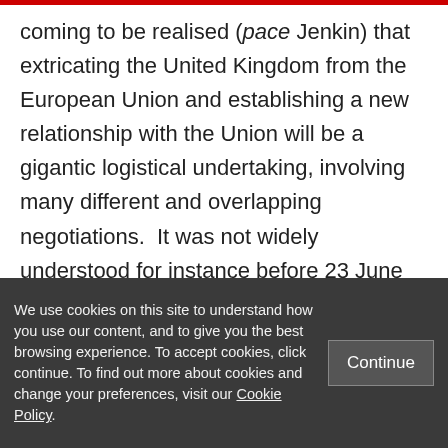coming to be realised (pace Jenkin) that extricating the United Kingdom from the European Union and establishing a new relationship with the Union will be a gigantic logistical undertaking, involving many different and overlapping negotiations. It was not widely understood for instance before 23 June that the negotiations for leaving the Union must precede and be
We use cookies on this site to understand how you use our content, and to give you the best browsing experience. To accept cookies, click continue. To find out more about cookies and change your preferences, visit our Cookie Policy.